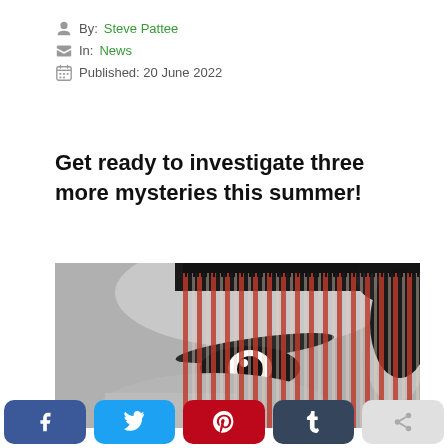By: Steve Pattee
In: News
Published: 20 June 2022
Get ready to investigate three more mysteries this summer!
[Figure (photo): Close-up black and white photo of a person's eye and brow with vertical red/orange stripe overlay pattern covering part of the face]
Social share buttons: Facebook, Twitter, Pinterest, Tumblr, Other